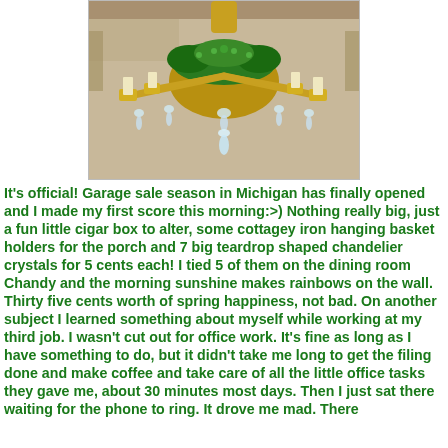[Figure (photo): Photograph of a gold chandelier decorated with green foliage and teardrop-shaped crystal pendants, hanging indoors.]
It's official! Garage sale season in Michigan has finally opened and I made my first score this morning:>) Nothing really big, just a fun little cigar box to alter, some cottagey iron hanging basket holders for the porch and 7 big teardrop shaped chandelier crystals for 5 cents each! I tied 5 of them on the dining room Chandy and the morning sunshine makes rainbows on the wall. Thirty five cents worth of spring happiness, not bad. On another subject I learned something about myself while working at my third job. I wasn't cut out for office work. It's fine as long as I have something to do, but it didn't take me long to get the filing done and make coffee and take care of all the little office tasks they gave me, about 30 minutes most days. Then I just sat there waiting for the phone to ring. It drove me mad. There